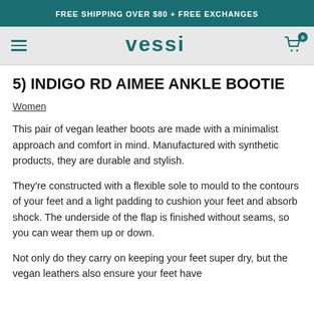FREE SHIPPING OVER $80 + FREE EXCHANGES
5) INDIGO RD AIMEE ANKLE BOOTIE
Women
This pair of vegan leather boots are made with a minimalist approach and comfort in mind. Manufactured with synthetic products, they are durable and stylish.
They're constructed with a flexible sole to mould to the contours of your feet and a light padding to cushion your feet and absorb shock. The underside of the flap is finished without seams, so you can wear them up or down.
Not only do they carry on keeping your feet super dry, but the vegan leathers also ensure your feet have